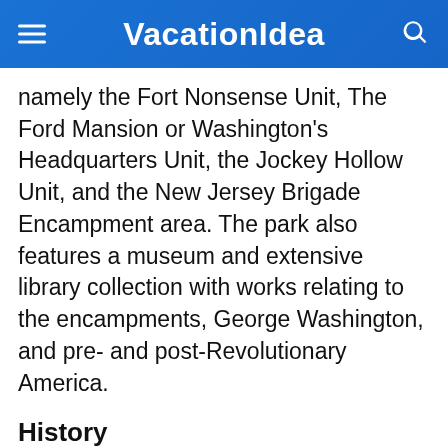VacationIdea
namely the Fort Nonsense Unit, The Ford Mansion or Washington's Headquarters Unit, the Jockey Hollow Unit, and the New Jersey Brigade Encampment area. The park also features a museum and extensive library collection with works relating to the encampments, George Washington, and pre- and post-Revolutionary America.
History
Following a report published in 1932 by the National Park Service recommending that the